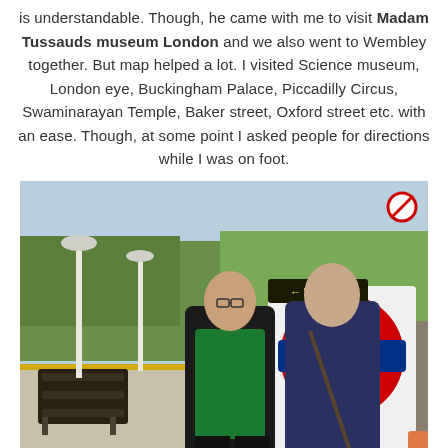is understandable. Though, he came with me to visit Madam Tussauds museum London and we also went to Wembley together. But map helped a lot. I visited Science museum, London eye, Buckingham Palace, Piccadilly Circus, Swaminarayan Temple, Baker street, Oxford street etc. with an ease. Though, at some point I asked people for directions while I was on foot.
[Figure (photo): Two men standing on a London Underground overground station platform. A London Underground roundel sign showing 'NORTHW...' is visible behind them. A yellow 'Way out' sign with an arrow points left. A no-smoking sign is visible in the top right. Station benches and railway tracks are visible in the background.]